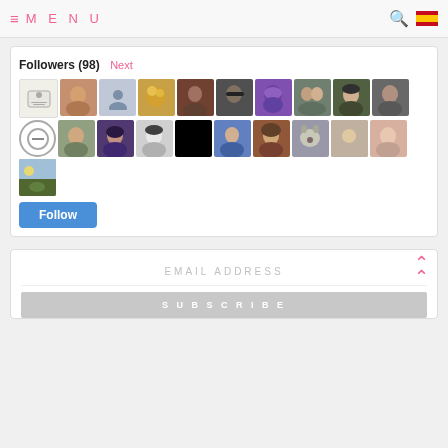MENU
Followers (98) Next
[Figure (photo): Grid of 21 follower profile pictures showing various user avatars including photos of people, animals, and placeholder icons]
Follow
EMAIL ADDRESS
SUBSCRIBE